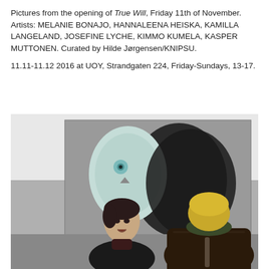Pictures from the opening of True Will, Friday 11th of November. Artists: MELANIE BONAJO, HANNALEENA HEISKA, KAMILLA LANGELAND, JOSEFINE LYCHE, KIMMO KUMELA, KASPER MUTTONEN. Curated by Hilde Jørgensen/KNIPSU.

11.11-11.12 2016 at UOY, Strandgaten 224, Friday-Sundays, 13-17.
[Figure (photo): Two people standing in front of a large artwork depicting an owl. A woman with dark hair faces the viewer with an expressive look, and a man with blond hair seen from behind wears a dark leather jacket with a green collar.]